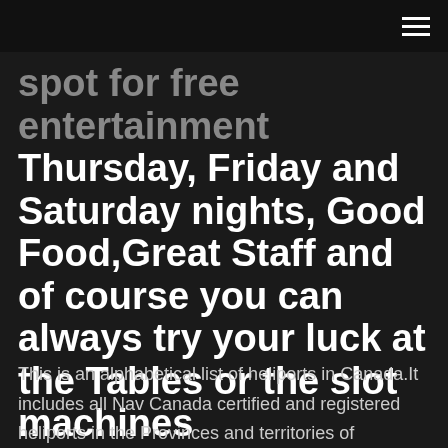spot for free entertainment Thursday, Friday and Saturday nights, Good Food,Great Staff and of course you can always try your luck at the Tables or the slot machines
This is an alphabetical list of heliports in Canada.It includes all Nav Canada certified and registered heliports in the Provinces and territories of Canada.. They are listed in the format: Airport name as listed in the Canada Flight Supplement (CFS), ICAO code, community served, and province and coordinates.; The airport name in the CFS may differ from the name used by the airport authority. Cold